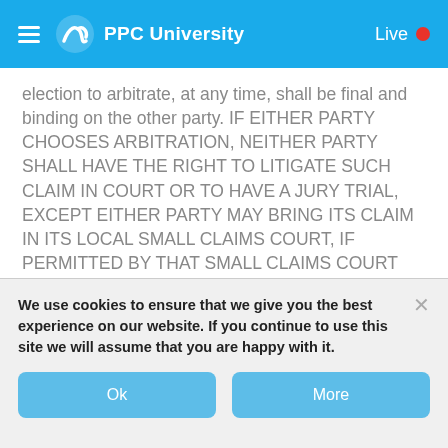PPC University   Live
election to arbitrate, at any time, shall be final and binding on the other party. IF EITHER PARTY CHOOSES ARBITRATION, NEITHER PARTY SHALL HAVE THE RIGHT TO LITIGATE SUCH CLAIM IN COURT OR TO HAVE A JURY TRIAL, EXCEPT EITHER PARTY MAY BRING ITS CLAIM IN ITS LOCAL SMALL CLAIMS COURT, IF PERMITTED BY THAT SMALL CLAIMS COURT RULES AND IF WITHIN SUCH COURT'S JURISDICTION. ARBITRATION IS DIFFERENT FROM COURT, AND DISCOVERY AND APPEAL RIGHTS MAY ALSO BE LIMITED IN ARBITRATION.
We use cookies to ensure that we give you the best experience on our website. If you continue to use this site we will assume that you are happy with it.